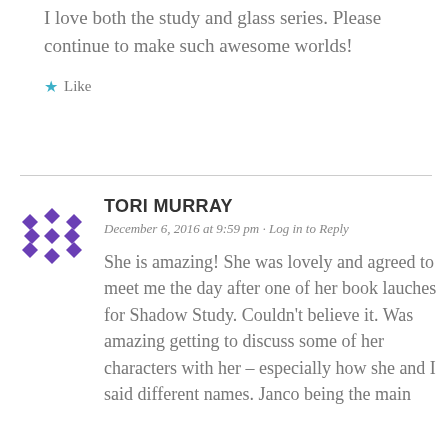I love both the study and glass series. Please continue to make such awesome worlds!
Like
TORI MURRAY
December 6, 2016 at 9:59 pm · Log in to Reply
She is amazing! She was lovely and agreed to meet me the day after one of her book lauches for Shadow Study. Couldn't believe it. Was amazing getting to discuss some of her characters with her – especially how she and I said different names. Janco being the main